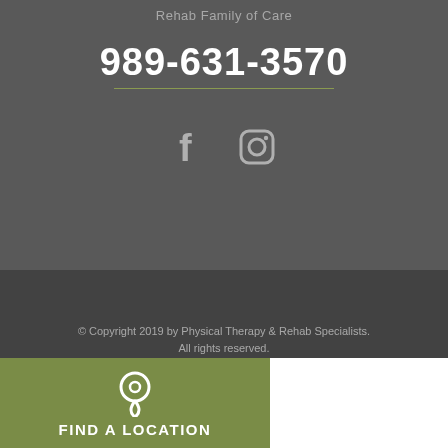Rehab Family of Care
989-631-3570
[Figure (illustration): Facebook and Instagram social media icons in grey]
© Copyright 2019 by Physical Therapy & Rehab Specialists. All rights reserved. Development by Mile 6, LLC
Privacy Policy   Sitemap
FIND A LOCATION